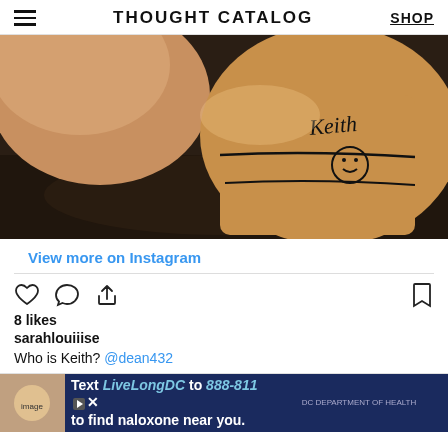THOUGHT CATALOG  SHOP
[Figure (photo): Close-up photo of two Starbucks coffee cups on a dark wooden surface, one cup has 'Keith' written on it with a smiley face drawn below]
View more on Instagram
[Figure (other): Instagram action icons: heart (like), comment bubble, share arrow on left; bookmark icon on right]
8 likes
sarahlouiiise
Who is Keith? @dean432
[Figure (other): Advertisement banner: Text LiveLongDC to 888-811 to find naloxone near you. DC government health ad.]